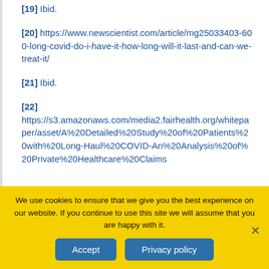[19] Ibid.
[20] https://www.newscientist.com/article/mg25033403-600-long-covid-do-i-have-it-how-long-will-it-last-and-can-we-treat-it/
[21] Ibid.
[22] https://s3.amazonaws.com/media2.fairhealth.org/whitepaper/asset/A%20Detailed%20Study%20of%20Patients%20with%20Long-Haul%20COVID-An%20Analysis%20of%20Private%20Healthcare%20Claims
We use cookies to ensure that we give you the best experience on our website. If you continue to use this site we will assume that you are happy with it.